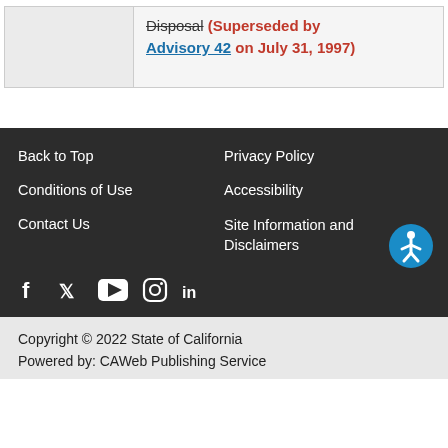|  | Disposal (Superseded by Advisory 42 on July 31, 1997) |
Back to Top
Privacy Policy
Conditions of Use
Accessibility
Contact Us
Site Information and Disclaimers
[Figure (infographic): Social media icons: Facebook, Twitter, YouTube, Instagram, LinkedIn]
Copyright © 2022 State of California
Powered by: CAWeb Publishing Service